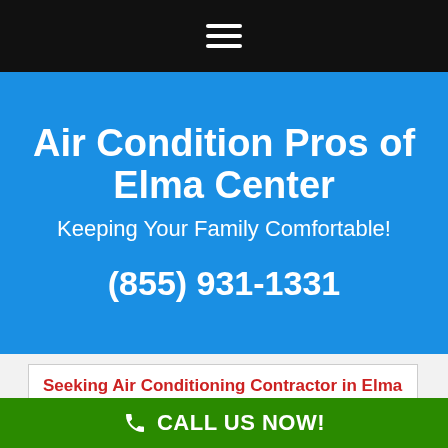[Figure (screenshot): Black navigation bar with hamburger menu icon (three white horizontal lines) centered on black background]
Air Condition Pros of Elma Center
Keeping Your Family Comfortable!
(855) 931-1331
Seeking Air Conditioning Contractor in Elma Center NY?
Most Trusted A/C Repair Service in Elma
CALL US NOW!